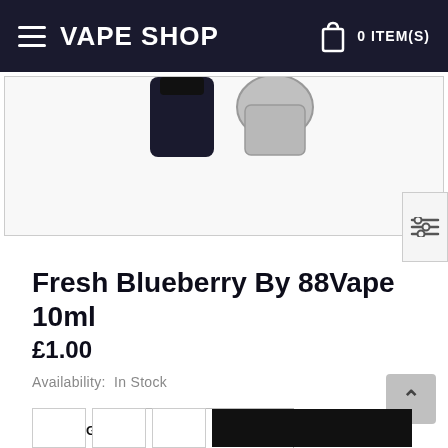VAPE SHOP  0 ITEM(S)
[Figure (photo): Product image area showing tops of vape/e-liquid bottles against white background]
Fresh Blueberry By 88Vape 10ml
£1.00
Availability:  In Stock
STRENGTH  16mg